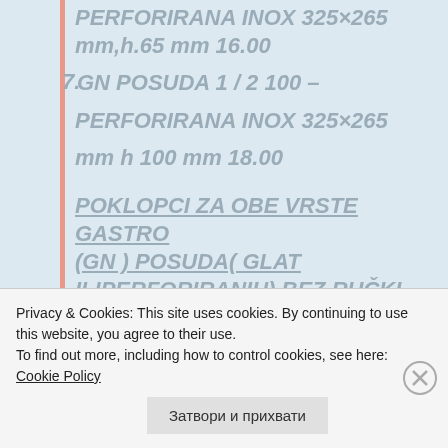PERFORIRANA INOX 325×265 mm,h.65 mm 16.00
7. GN POSUDA 1 / 2 100 – PERFORIRANA INOX 325×265 mm h 100 mm 18.00
POKLOPCI ZA OBE VRSTE GASTRO (GN ) POSUDA( GLAT ILIPERFORIRANIH) BEZ RUČKI (LID)- INOX (HACCP)-DIMENZIJE-VP
Privacy & Cookies: This site uses cookies. By continuing to use this website, you agree to their use.
To find out more, including how to control cookies, see here: Cookie Policy
Затвори и прихвати